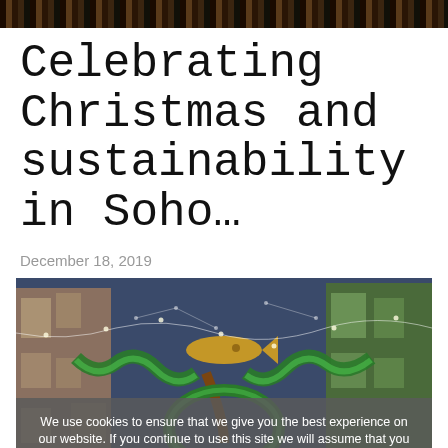[decorative leopard print header bar]
Celebrating Christmas and sustainability in Soho…
December 18, 2019
[Figure (photo): Street scene in Soho at night showing Christmas decorations with green garlands, a large golden fish, and festive lights strung between buildings, overlaid with a cookie consent banner reading: We use cookies to ensure that we give you the best experience on our website. If you continue to use this site we will assume that you are happy with it.]